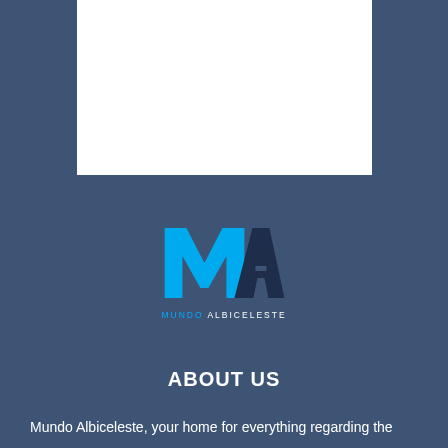[Figure (other): White rectangular box/image placeholder on dark blue background, positioned in upper portion of page]
[Figure (logo): Mundo Albiceleste logo: large cyan 'M' and dark navy 'A' letter marks above text reading 'MUNDO ALBICELESTE']
ABOUT US
Mundo Albiceleste, your home for everything regarding the